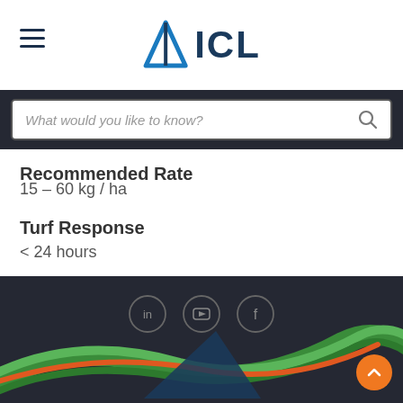ICL logo and navigation header
What would you like to know?
Recommended Rate
15 – 60 kg / ha
Turf Response
< 24 hours
[Figure (screenshot): Website footer with dark background, social media icons (LinkedIn, YouTube, Facebook), decorative green and orange curved ribbon graphic, and orange back-to-top button]